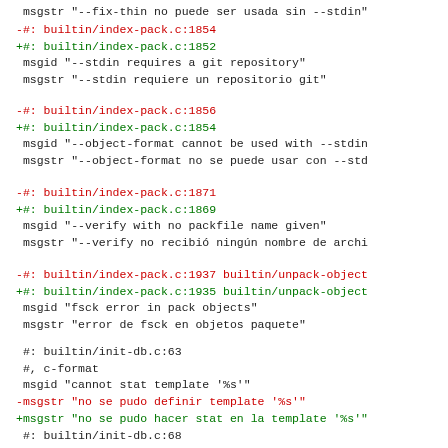msgstr "--fix-thin no puede ser usada sin --stdin"
-#: builtin/index-pack.c:1854
+#: builtin/index-pack.c:1852
 msgid "--stdin requires a git repository"
 msgstr "--stdin requiere un repositorio git"
-#: builtin/index-pack.c:1856
+#: builtin/index-pack.c:1854
 msgid "--object-format cannot be used with --stdin
 msgstr "--object-format no se puede usar con --std
-#: builtin/index-pack.c:1871
+#: builtin/index-pack.c:1869
 msgid "--verify with no packfile name given"
 msgstr "--verify no recibió ningún nombre de archi
-#: builtin/index-pack.c:1937 builtin/unpack-object
+#: builtin/index-pack.c:1935 builtin/unpack-object
 msgid "fsck error in pack objects"
 msgstr "error de fsck en objetos paquete"
#: builtin/init-db.c:63
 #, c-format
 msgid "cannot stat template '%s'"
-msgstr "no se pudo definir template '%s'"
+msgstr "no se pudo hacer stat en la template '%s'"
#: builtin/init-db.c:68
 #, c-format